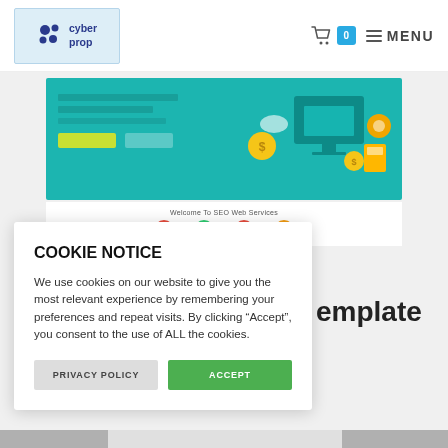[Figure (logo): CyberProp logo with blue dots and text 'cyber prop' on light blue background]
[Figure (screenshot): Website header navigation with cart icon showing badge '0' and MENU hamburger]
[Figure (screenshot): Teal hero banner with text and icons for SEO web services website]
[Figure (screenshot): Welcome To SEO Web Services sub-section with small icons]
COOKIE NOTICE
We use cookies on our website to give you the most relevant experience by remembering your preferences and repeat visits. By clicking “Accept”, you consent to the use of ALL the cookies.
PRIVACY POLICY
ACCEPT